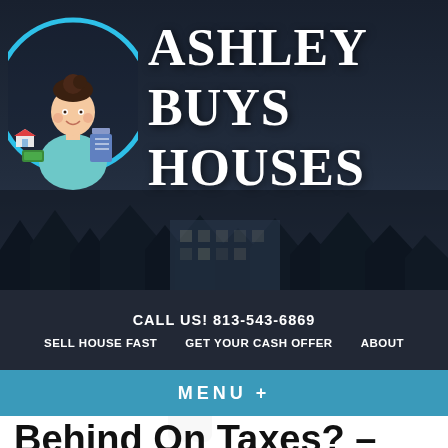[Figure (logo): Ashley Buys Houses logo with animated female mascot holding a house and money inside a blue circle, set against a dark night sky background with trees]
ASHLEY BUYS HOUSES
CALL US! 813-543-6869
SELL HOUSE FAST   GET YOUR CASH OFFER   ABOUT
MENU +
Behind On Taxes? – Here Is How A Florida Cash House Buying Company Can Help